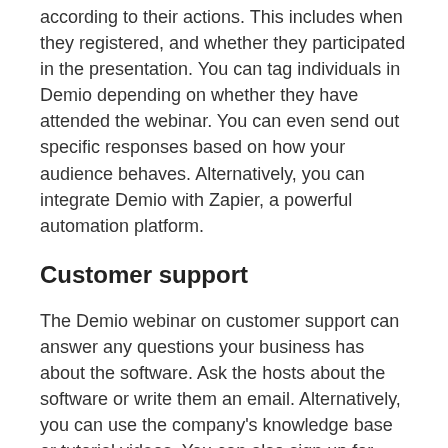according to their actions. This includes when they registered, and whether they participated in the presentation. You can tag individuals in Demio depending on whether they have attended the webinar. You can even send out specific responses based on how your audience behaves. Alternatively, you can integrate Demio with Zapier, a powerful automation platform.
Customer support
The Demio webinar on customer support can answer any questions your business has about the software. Ask the hosts about the software or write them an email. Alternatively, you can use the company's knowledge base or tutorial videos. You can also sign up for Demio University to receive weekly or monthly newsletters, and